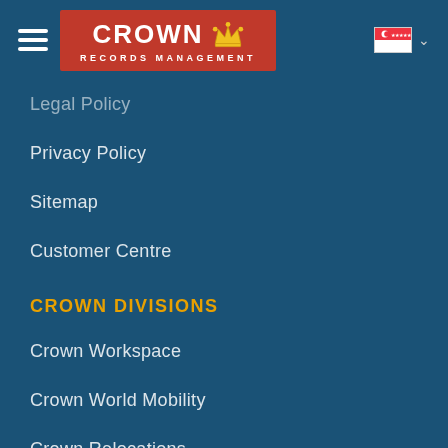Crown Records Management
Legal Policy
Privacy Policy
Sitemap
Customer Centre
CROWN DIVISIONS
Crown Workspace
Crown World Mobility
Crown Relocations
Crown Logistics
Crown Fine Art
Crown Wine Cellars